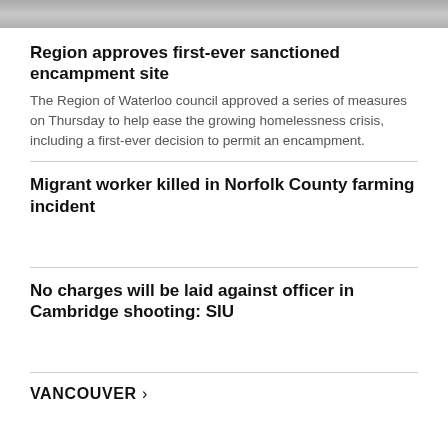[Figure (photo): Top portion of a photo, appears to show an outdoor scene with a gray/snowy background]
Region approves first-ever sanctioned encampment site
The Region of Waterloo council approved a series of measures on Thursday to help ease the growing homelessness crisis, including a first-ever decision to permit an encampment.
Migrant worker killed in Norfolk County farming incident
No charges will be laid against officer in Cambridge shooting: SIU
VANCOUVER >